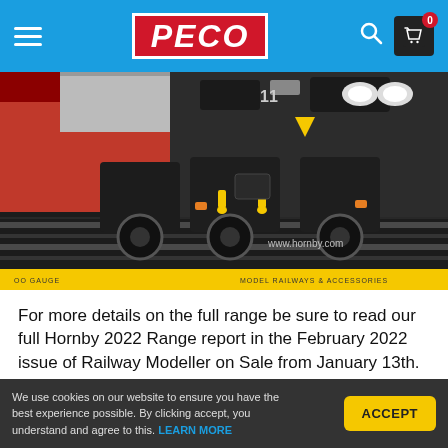PECO
[Figure (photo): Close-up photograph of model railway locomotive bogie/undercarriage on tracks, showing detailed wheels and coupling mechanisms. Yellow coupling hooks visible. Text overlay 'www.hornby.com' at bottom right. Yellow banner at bottom reading 'OO GAUGE' and 'MODEL RAILWAYS & ACCESSORIES'.]
For more details on the full range be sure to read our full Hornby 2022 Range report in the February 2022 issue of Railway Modeller on Sale from January 13th.
We use cookies on our website to ensure you have the best experience possible. By clicking accept, you understand and agree to this. LEARN MORE